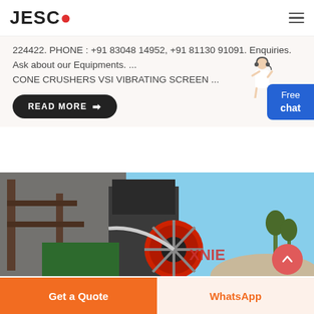JESCO
224422. PHONE : +91 83048 14952, +91 81130 91091. Enquiries. Ask about our Equipments. ... CONE CRUSHERS VSI VIBRATING SCREEN ...
READ MORE →
[Figure (photo): Industrial crusher/mining machinery at a quarry site with large wheel mechanism visible, branded with partial text on machinery, blue sky background]
Get a Quote
WhatsApp